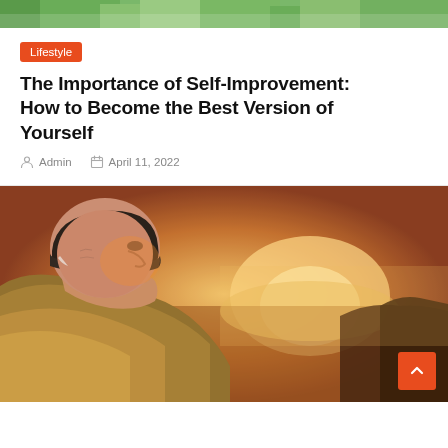[Figure (photo): Top portion of a photo showing green foliage/nature background, cropped at top of page]
Lifestyle
The Importance of Self-Improvement: How to Become the Best Version of Yourself
Admin   April 11, 2022
[Figure (photo): Close-up portrait of an elderly man in profile wearing a dark beanie hat and olive jacket, illuminated by warm golden sunset light, with blurred landscape background]